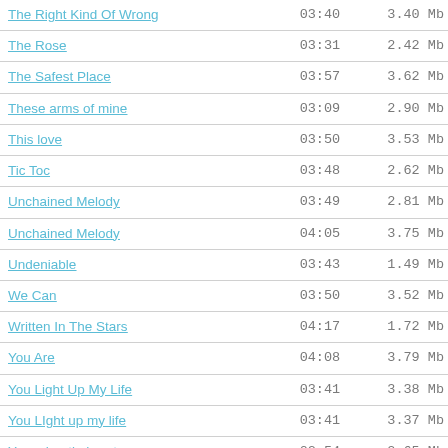| Name | Duration | Size |
| --- | --- | --- |
| The Right Kind Of Wrong | 03:40 | 3.40 Mb |
| The Rose | 03:31 | 2.42 Mb |
| The Safest Place | 03:57 | 3.62 Mb |
| These arms of mine | 03:09 | 2.90 Mb |
| This love | 03:50 | 3.53 Mb |
| Tic Toc | 03:48 | 2.62 Mb |
| Unchained Melody | 03:49 | 2.81 Mb |
| Unchained Melody | 04:05 | 3.75 Mb |
| Undeniable | 03:43 | 1.49 Mb |
| We Can | 03:50 | 3.52 Mb |
| Written In The Stars | 04:17 | 1.72 Mb |
| You Are | 04:08 | 3.79 Mb |
| You Light Up My Life | 03:41 | 3.38 Mb |
| You LIght up my life | 03:41 | 3.37 Mb |
| Your cheatin heart | 02:54 | 2.65 Mb |